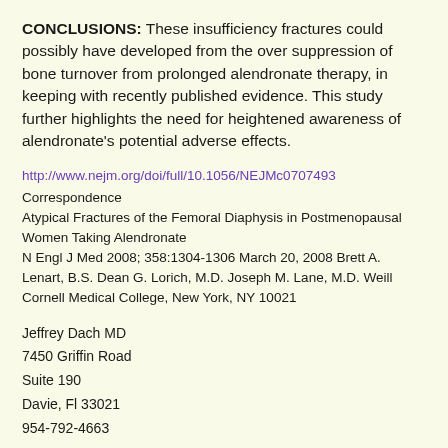CONCLUSIONS: These insufficiency fractures could possibly have developed from the over suppression of bone turnover from prolonged alendronate therapy, in keeping with recently published evidence. This study further highlights the need for heightened awareness of alendronate's potential adverse effects.
http://www.nejm.org/doi/full/10.1056/NEJMc0707493
Correspondence
Atypical Fractures of the Femoral Diaphysis in Postmenopausal Women Taking Alendronate
N Engl J Med 2008; 358:1304-1306 March 20, 2008 Brett A. Lenart, B.S. Dean G. Lorich, M.D. Joseph M. Lane, M.D. Weill Cornell Medical College, New York, NY 10021
Jeffrey Dach MD
7450 Griffin Road
Suite 190
Davie, Fl 33021
954-792-4663
www.drdach.com